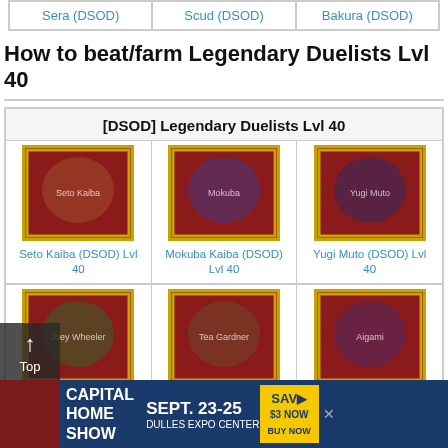| Sera (DSOD) | Scud (DSOD) | Bakura (DSOD) |
| --- | --- | --- |
How to beat/farm Legendary Duelists Lvl 40
| [DSOD] Legendary Duelists Lvl 40 |
| --- |
| Seto Kaiba (DSOD) Lvl 40 | Mokuba Kaiba (DSOD) Lvl 40 | Yugi Muto (DSOD) Lvl 40 |
| Joey Wheeler (DSOD) Lvl 40 | Tea Gardner (DSOD) Lvl 40 | Aigami Lvl 40 |
[Figure (screenshot): Advertisement banner: Capital Home Show, Sept. 23-25, Dulles Expo Center, Save $3 Now Buy Now]